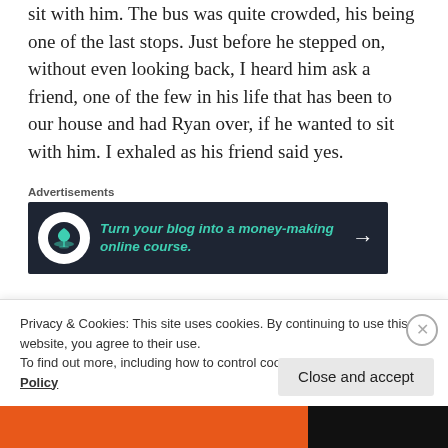sit with him. The bus was quite crowded, his being one of the last stops. Just before he stepped on, without even looking back, I heard him ask a friend, one of the few in his life that has been to our house and had Ryan over, if he wanted to sit with him. I exhaled as his friend said yes.
[Figure (infographic): Advertisement banner with dark background showing 'Turn your blog into a money-making online course.' with a bonsai tree icon and arrow.]
But as we watched from the curb through the tinted windows, we could see Ryan shuffling toward the
Privacy & Cookies: This site uses cookies. By continuing to use this website, you agree to their use.
To find out more, including how to control cookies, see here: Cookie Policy
Close and accept